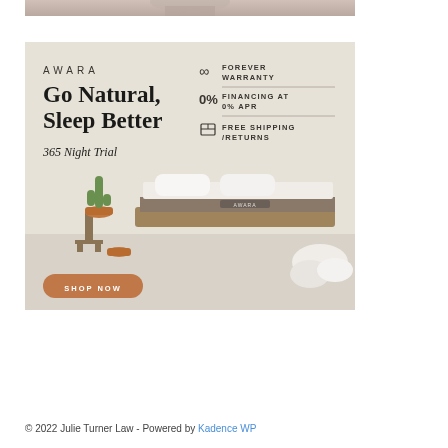[Figure (photo): Partial top image cropped at top of page, showing a person]
[Figure (illustration): AWARA mattress advertisement. Text reads: AWARA, Go Natural, Sleep Better, 365 Night Trial. Features: Forever Warranty (infinity icon), 0% Financing at 0% APR (0% label), Free Shipping/Returns (box icon). Shows a bed with Awara mattress, cactus plant, and pillows on floor. Orange SHOP NOW button at bottom left.]
© 2022 Julie Turner Law - Powered by Kadence WP